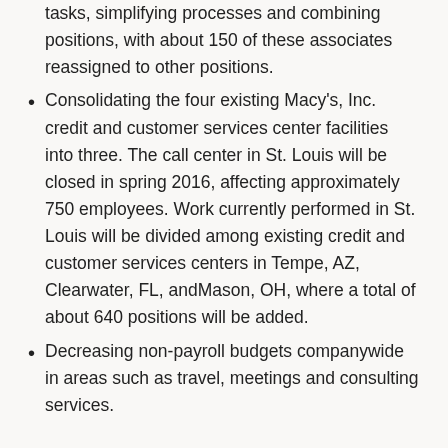tasks, simplifying processes and combining positions, with about 150 of these associates reassigned to other positions.
Consolidating the four existing Macy's, Inc. credit and customer services center facilities into three. The call center in St. Louis will be closed in spring 2016, affecting approximately 750 employees. Work currently performed in St. Louis will be divided among existing credit and customer services centers in Tempe, AZ, Clearwater, FL, andMason, OH, where a total of about 640 positions will be added.
Decreasing non-payroll budgets companywide in areas such as travel, meetings and consulting services.